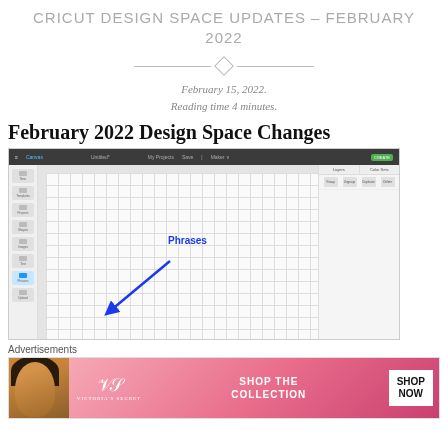CRICUT DESIGN SPACE UPDATES – FEBRUARY 2022
February 15, 2022.
Reading time 4 minutes.
February 2022 Design Space Changes
[Figure (screenshot): Screenshot of Cricut Design Space canvas with a blue arrow pointing to a 'Phrases' label on the left sidebar]
Advertisements
[Figure (photo): Victoria's Secret advertisement banner showing a woman with curly hair, VS logo, 'SHOP THE COLLECTION' text, and 'SHOP NOW' button]